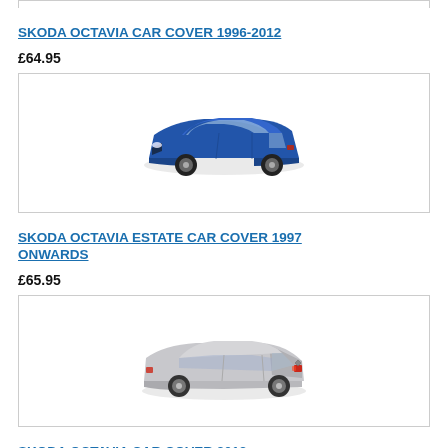[Figure (other): Top border of previous product image box (cropped)]
SKODA OCTAVIA CAR COVER 1996-2012
£64.95
[Figure (photo): Blue Skoda Octavia estate car, front three-quarter view]
SKODA OCTAVIA ESTATE CAR COVER 1997 ONWARDS
£65.95
[Figure (photo): Silver Skoda Octavia saloon car, rear three-quarter view]
SKODA OCTAVIA CAR COVER 2012 ONWARDS